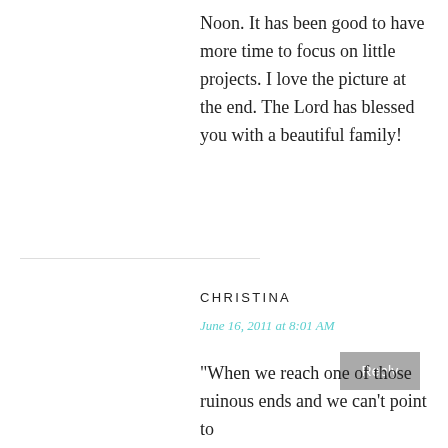Noon. It has been good to have more time to focus on little projects. I love the picture at the end. The Lord has blessed you with a beautiful family!
Reply
CHRISTINA
June 16, 2011 at 8:01 AM
"When we reach one of those ruinous ends and we can't point to